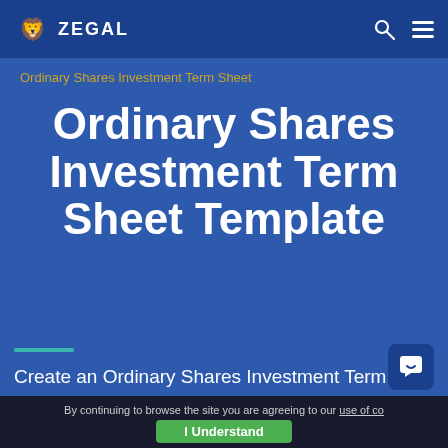ZEGAL
Ordinary Shares Investment Term Sheet
Ordinary Shares Investment Term Sheet Template
Create an Ordinary Shares Investment Term Sheet in less than 5 minutes with Zegal's document builder.
By continuing to browse the site you are agreeing to our use of co... | I Understand